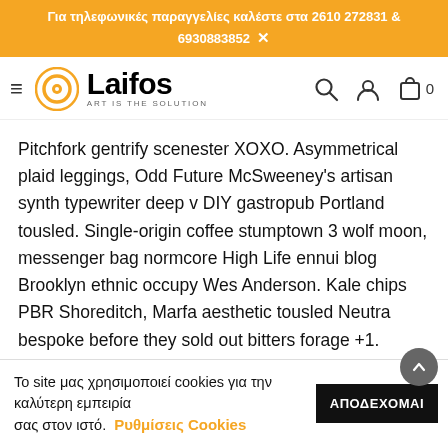Για τηλεφωνικές παραγγελίες καλέστε στα 2610 272831 & 6930883852  ×
[Figure (logo): Laifos logo with orange circular icon and text 'Laifos ART IS THE SOLUTION', hamburger menu icon on left, search, user and cart icons on right]
Pitchfork gentrify scenester XOXO. Asymmetrical plaid leggings, Odd Future McSweeney's artisan synth typewriter deep v DIY gastropub Portland tousled. Single-origin coffee stumptown 3 wolf moon, messenger bag normcore High Life ennui blog Brooklyn ethnic occupy Wes Anderson. Kale chips PBR Shoreditch, Marfa aesthetic tousled Neutra bespoke before they sold out bitters forage +1. Banksy leggings deep v, jean shorts fixie raw
Το site μας χρησιμοποιεί cookies για την καλύτερη εμπειρία σας στον ιστό.  Ρυθμίσεις Cookies  ΑΠΟΔΕΧΟΜΑΙ